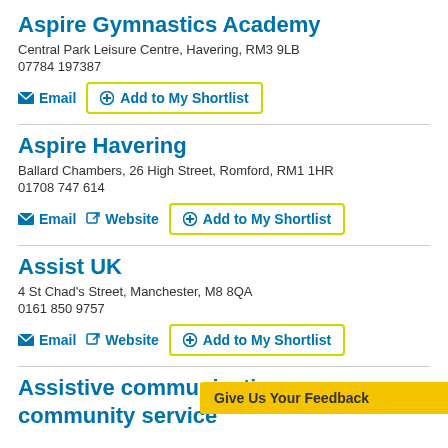Aspire Gymnastics Academy
Central Park Leisure Centre, Havering, RM3 9LB
07784 197387
Email   Add to My Shortlist
Aspire Havering
Ballard Chambers, 26 High Street, Romford, RM1 1HR
01708 747 614
Email   Website   Add to My Shortlist
Assist UK
4 St Chad's Street, Manchester, M8 8QA
0161 850 9757
Email   Website   Add to My Shortlist
Assistive communication community service
Give Us Your Feedback